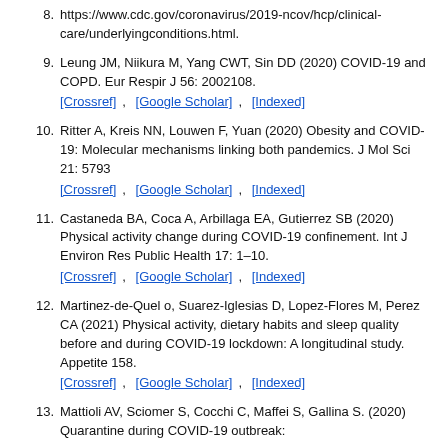8. https://www.cdc.gov/coronavirus/2019-ncov/hcp/clinical-care/underlyingconditions.html.
9. Leung JM, Niikura M, Yang CWT, Sin DD (2020) COVID-19 and COPD. Eur Respir J 56: 2002108. [Crossref], [Google Scholar], [Indexed]
10. Ritter A, Kreis NN, Louwen F, Yuan (2020) Obesity and COVID-19: Molecular mechanisms linking both pandemics. J Mol Sci 21: 5793 [Crossref], [Google Scholar], [Indexed]
11. Castaneda BA, Coca A, Arbillaga EA, Gutierrez SB (2020) Physical activity change during COVID-19 confinement. Int J Environ Res Public Health 17: 1–10. [Crossref], [Google Scholar], [Indexed]
12. Martinez-de-Quel o, Suarez-Iglesias D, Lopez-Flores M, Perez CA (2021) Physical activity, dietary habits and sleep quality before and during COVID-19 lockdown: A longitudinal study. Appetite 158. [Crossref], [Google Scholar], [Indexed]
13. Mattioli AV, Sciomer S, Cocchi C, Maffei S, Gallina S. (2020) Quarantine during COVID-19 outbreak: